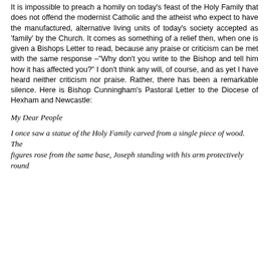It is impossible to preach a homily on today's feast of the Holy Family that does not offend the modernist Catholic and the atheist who expect to have the manufactured, alternative living units of today's society accepted as 'family' by the Church. It comes as something of a relief then, when one is given a Bishops Letter to read, because any praise or criticism can be met with the same response –"Why don't you write to the Bishop and tell him how it has affected you?" I don't think any will, of course, and as yet I have heard neither criticism nor praise. Rather, there has been a remarkable silence. Here is Bishop Cunningham's Pastoral Letter to the Diocese of Hexham and Newcastle:
My Dear People
I once saw a statue of the Holy Family carved from a single piece of wood. The figures rose from the same base, Joseph standing with his arm protectively round